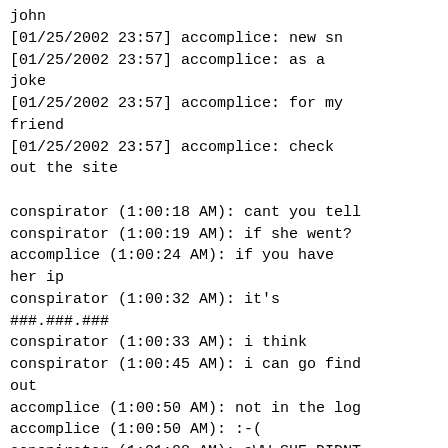john
[01/25/2002 23:57] accomplice: new sn
[01/25/2002 23:57] accomplice: as a joke
[01/25/2002 23:57] accomplice: for my friend
[01/25/2002 23:57] accomplice: check out the site

conspiratorr (1:00:18 AM): cant you tell
conspirator (1:00:19 AM): if she went?
accomplice (1:00:24 AM): if you have her ip
conspirator (1:00:32 AM): it's ###.###.###
conspirator (1:00:33 AM): i think
conspirator (1:00:45 AM): i can go find out
accomplice (1:00:50 AM): not in the log
accomplice (1:00:50 AM): :-(
conspirator (1:01:08 AM): aWW SHE DIDNT GO
accomplice (1:01:11 AM): oh wait